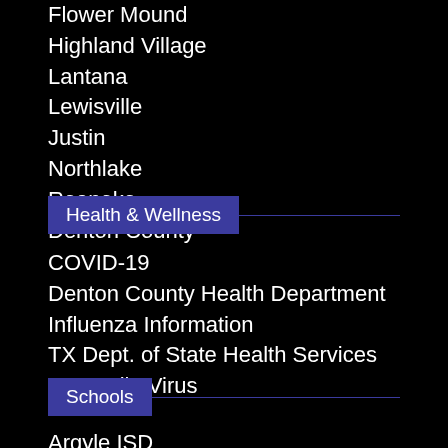Flower Mound
Highland Village
Lantana
Lewisville
Justin
Northlake
Roanoke
Denton County
Health & Wellness
COVID-19
Denton County Health Department
Influenza Information
TX Dept. of State Health Services
West Nile Virus
Schools
Argyle ISD